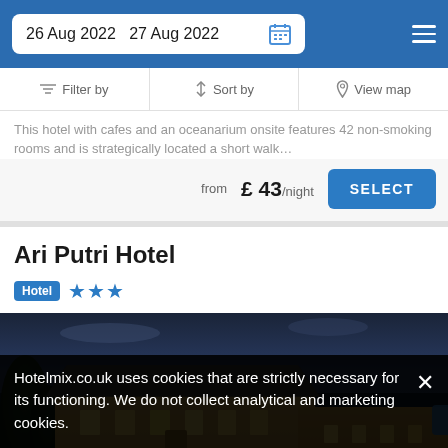26 Aug 2022  27 Aug 2022
Filter by  Sort by  View map
This hotel with cafes and an oceanarium onsite features 42 non-smoking rooms and is strategically located a short walk…
from £ 43/night  SELECT
Ari Putri Hotel
Hotel ★★★
[Figure (photo): Nighttime exterior photo of Ari Putri Hotel, showing illuminated warm-lit buildings with dark sky and trees in foreground]
Hotelmix.co.uk uses cookies that are strictly necessary for its functioning. We do not collect analytical and marketing cookies.